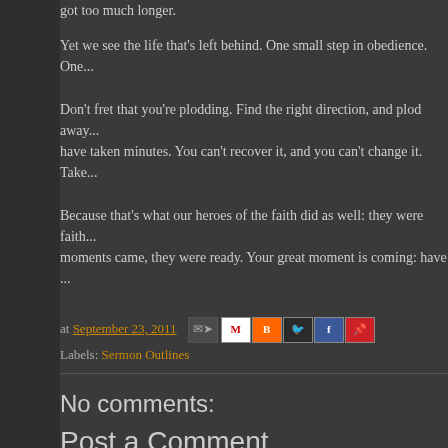got too much longer.
Yet we see the life that's left behind. One small step in obedience. One...
Don't fret that you're plodding. Find the right direction, and plod away... have taken minutes. You can't recover it, and you can't change it. Take...
Because that's what our heroes of the faith did as well: they were faith... moments came, they were ready. Your great moment is coming: have...
at September 23, 2011 [share icons] Labels: Sermon Outlines
No comments:
Post a Comment
To deal with SPAM comments, all comments are moderated. I'm typically w... posted within the last 24 hours, I may not be to it yet.
Enter Comment